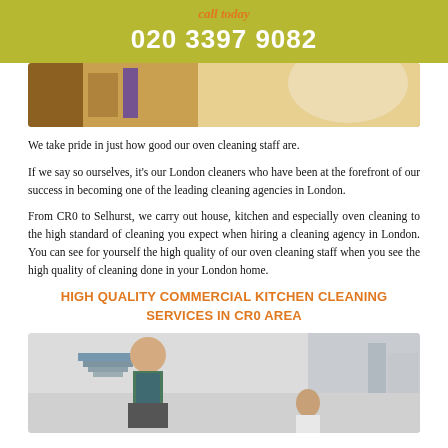call today
020 3397 9082
[Figure (photo): Top portion of a kitchen cleaning photo showing a person cleaning]
We take pride in just how good our oven cleaning staff are.
If we say so ourselves, it’s our London cleaners who have been at the forefront of our success in becoming one of the leading cleaning agencies in London.
From CR0 to Selhurst, we carry out house, kitchen and especially oven cleaning to the high standard of cleaning you expect when hiring a cleaning agency in London. You can see for yourself the high quality of our oven cleaning staff when you see the high quality of cleaning done in your London home.
HIGH QUALITY COMMERCIAL KITCHEN CLEANING SERVICES IN CR0 AREA
[Figure (photo): Person cleaning a kitchen floor, another person in the background]